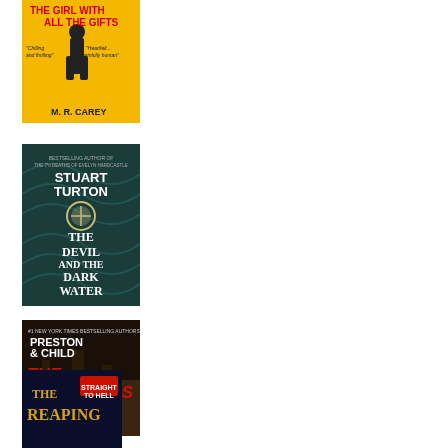[Figure (illustration): Book cover: 'The Girl with All the Gifts' by M.R. Carey — yellow background with silhouette figure, red title text, with review blurbs 'Chilling and thrilling' and 'Heartfelt, painfully human']
[Figure (illustration): Book cover: 'The Devil and the Dark Water' by Stuart Turton — dark teal/green textured background with compass illustration, white serif title text and author name]
[Figure (illustration): Book cover: 'The Scorpion's Tail' by Preston & Child — dark background with city/landscape silhouette, large red stylized title text, author names in white at top]
[Figure (illustration): Book cover: 'The Reaping' — partially visible at bottom, dark blue background with gold title text and red subtitle/byline badge]